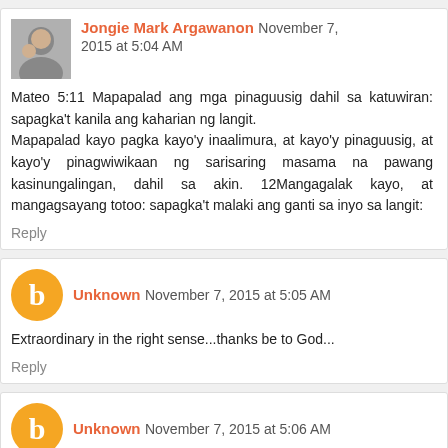Jongie Mark Argawanon  November 7, 2015 at 5:04 AM
Mateo 5:11 Mapapalad ang mga pinaguusig dahil sa katuwiran: sapagka't kanila ang kaharian ng langit.
Mapapalad kayo pagka kayo'y inaalimura, at kayo'y pinaguusig, at kayo'y pinagwiwikaan ng sarisaring masama na pawang kasinungalingan, dahil sa akin. 12Mangagalak kayo, at mangagsayang totoo: sapagka't malaki ang ganti sa inyo sa langit:
Reply
Unknown  November 7, 2015 at 5:05 AM
Extraordinary in the right sense...thanks be to God...
Reply
Unknown  November 7, 2015 at 5:06 AM